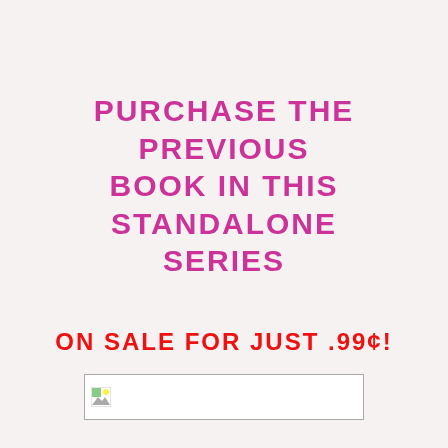PURCHASE THE PREVIOUS BOOK IN THIS STANDALONE SERIES
ON SALE FOR JUST .99¢!
[Figure (illustration): Small broken/placeholder image thumbnail in a white rectangle with border at bottom center of page]